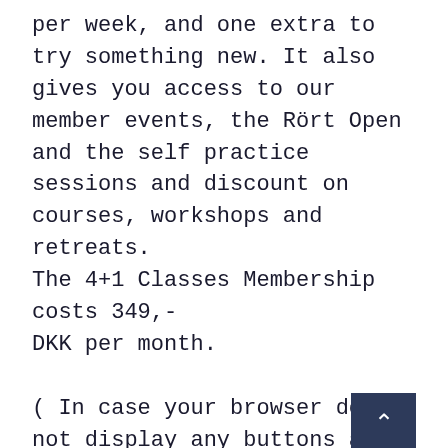per week, and one extra to try something new. It also gives you access to our member events, the Rört Open and the self practice sessions and discount on courses, workshops and retreats. The 4+1 Classes Membership costs 349,- DKK per month.
( In case your browser does not display any buttons above  for the memberships, you can use this link here instead: Get a membership at Rört )